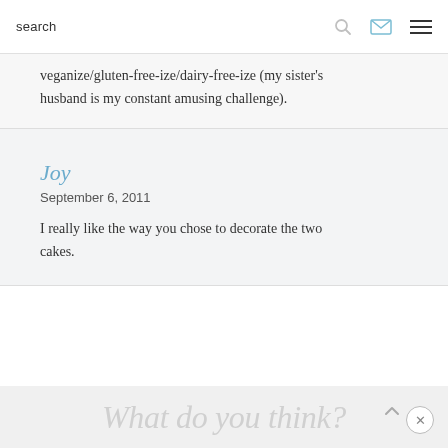search
veganize/gluten-free-ize/dairy-free-ize (my sister's husband is my constant amusing challenge).
Joy
September 6, 2011
I really like the way you chose to decorate the two cakes.
What do you think?